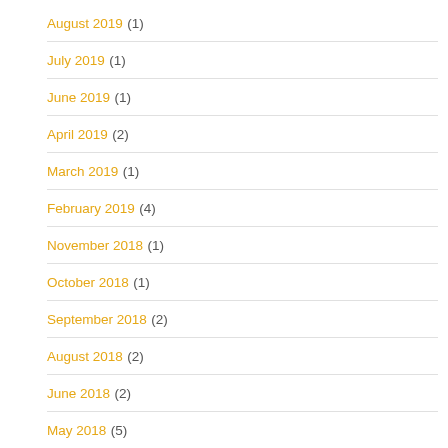August 2019 (1)
July 2019 (1)
June 2019 (1)
April 2019 (2)
March 2019 (1)
February 2019 (4)
November 2018 (1)
October 2018 (1)
September 2018 (2)
August 2018 (2)
June 2018 (2)
May 2018 (5)